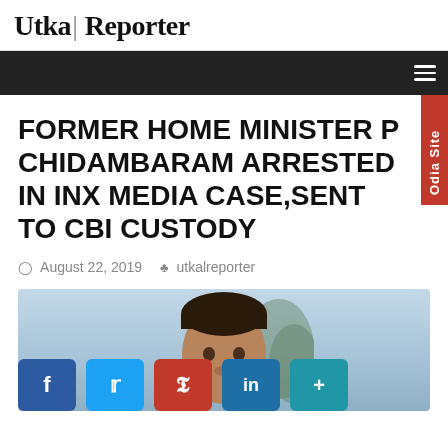Utkal Reporter
FORMER HOME MINISTER P CHIDAMBARAM ARRESTED IN INX MEDIA CASE,SENT TO CBI CUSTODY
August 22, 2019   utkalreporter
[Figure (photo): Photo of P Chidambaram with social media share buttons (Facebook, Twitter, Pinterest, LinkedIn, More) overlaid at the bottom]